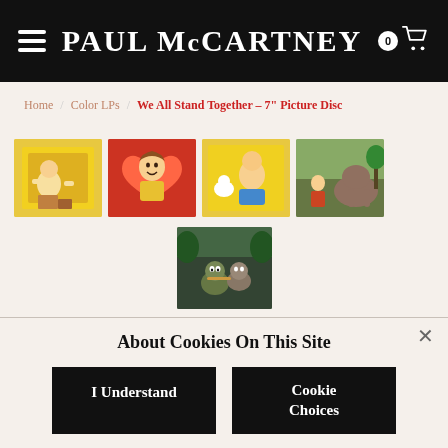PAUL McCARTNEY
Home / Color LPs / We All Stand Together – 7" Picture Disc
[Figure (photo): Thumbnail image 1 of Paul McCartney We All Stand Together 7 inch picture disc product]
[Figure (photo): Thumbnail image 2 of Paul McCartney We All Stand Together 7 inch picture disc product]
[Figure (photo): Thumbnail image 3 of Paul McCartney We All Stand Together 7 inch picture disc product]
[Figure (photo): Thumbnail image 4 of Paul McCartney We All Stand Together 7 inch picture disc product]
[Figure (photo): Thumbnail image 5 of Paul McCartney We All Stand Together 7 inch picture disc product]
About Cookies On This Site
I Understand
Cookie Choices